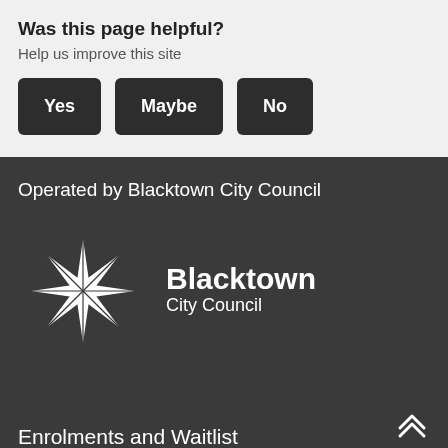Was this page helpful?
Help us improve this site
Yes  Maybe  No
Operated by Blacktown City Council
[Figure (logo): Blacktown City Council logo: white snowflake/star shape with text 'Blacktown City Council']
Enrolments and Waitlist